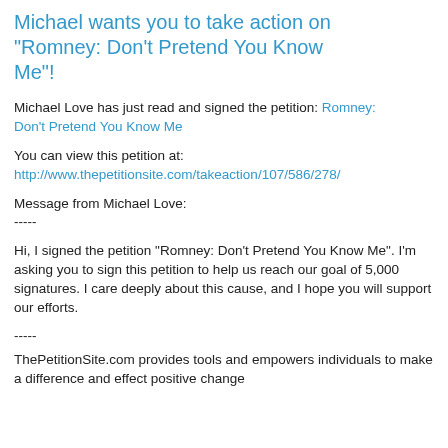Michael wants you to take action on "Romney: Don't Pretend You Know Me"!
Michael Love has just read and signed the petition: Romney: Don't Pretend You Know Me
You can view this petition at:
http://www.thepetitionsite.com/takeaction/107/586/278/
Message from Michael Love:
-----
Hi, I signed the petition "Romney: Don't Pretend You Know Me". I'm asking you to sign this petition to help us reach our goal of 5,000 signatures. I care deeply about this cause, and I hope you will support our efforts.
-----
ThePetitionSite.com provides tools and empowers individuals to make a difference and effect positive change